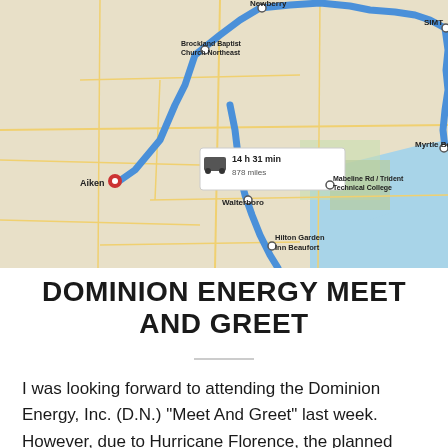[Figure (map): Google Maps route map showing a driving route through South Carolina with stops including Aiken (red pin), Newberry, Brockland Baptist Church Northeast, Walterboro, Hilton Garden Inn Beaufort, Mabeline Rd / Trident Technical College, SIMT, and Myrtle Beach. A route summary box shows '14 h 31 min, 878 miles'.]
DOMINION ENERGY MEET AND GREET
I was looking forward to attending the Dominion Energy, Inc. (D.N.) "Meet And Greet" last week. However, due to Hurricane Florence, the planned